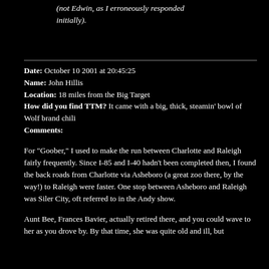(not Edwin, as I erroneously responded initially).
Date: October 10 2001 at 20:45:25
Name: John Hillis
Location: 18 miles from the Big Target
How did you find TTM? It came with a big, thick, steamin' bowl of Wolf brand chili
Comments:
For "Goober," I used to make the run between Charlotte and Raleigh fairly frequently. Since I-85 and I-40 hadn't been completed then, I found the back roads from Charlotte via Asheboro (a great zoo there, by the way!) to Raleigh were faster. One stop between Asheboro and Raleigh was Siler City, oft referred to in the Andy show.
Aunt Bee, Frances Bavier, actually retired there, and you could wave to her as you drove by. By that time, she was quite old and ill, but